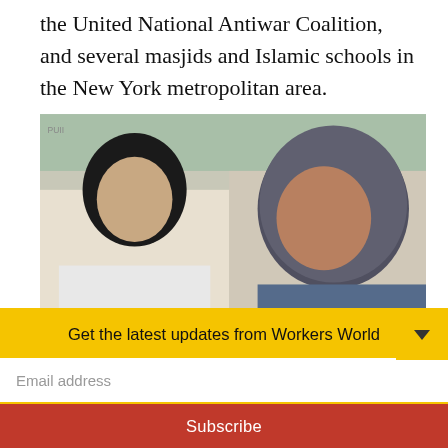the United National Antiwar Coalition, and several masjids and Islamic schools in the New York metropolitan area.
[Figure (photo): Two women holding protest signs at a rally. The left sign is yellow with black text reading 'Say No to Sectarian Violence Everywhere' and 'www.Yafatimazahra.com'. The right woman wears a hijab and holds a dark sign with yellow text reading 'Silence on Oppression is a Crime' and 'www.Yafatimazahra.com'.]
Get the latest updates from Workers World
Email address
Subscribe